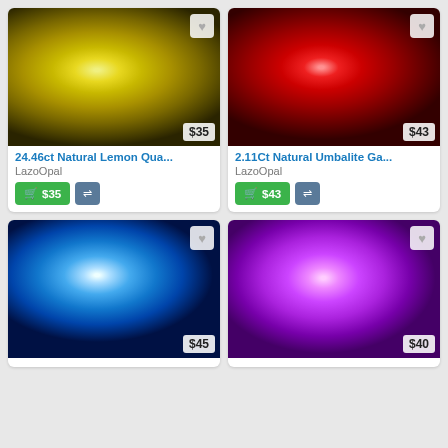[Figure (photo): Product card: yellow-green lemon quartz gemstone oval cut on grey background, price $35]
24.46ct Natural Lemon Qua...
LazoOpal
[Figure (photo): Product card: deep red oval umbalite garnet gemstone on light background, price $43]
2.11Ct Natural Umbalite Ga...
LazoOpal
[Figure (photo): Product card: blue oval topaz gemstone on grey background, price $45]
[Figure (photo): Product card: purple heart-shaped amethyst gemstone on light background, price $40]